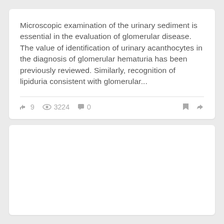Microscopic examination of the urinary sediment is essential in the evaluation of glomerular disease. The value of identification of urinary acanthocytes in the diagnosis of glomerular hematuria has been previously reviewed. Similarly, recognition of lipiduria consistent with glomerular...
9  3224  0